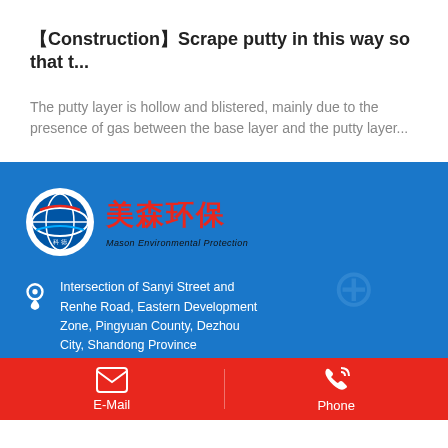【Construction】Scrape putty in this way so that t...
The putty layer is hollow and blistered, mainly due to the presence of gas between the base layer and the putty layer...
[Figure (logo): Mason Environmental Protection company logo with circular globe icon and Chinese characters 美森环保]
Intersection of Sanyi Street and Renhe Road, Eastern Development Zone, Pingyuan County, Dezhou City, Shandong Province
+8615066550926 (Mr.Xin)
E-Mail
Phone